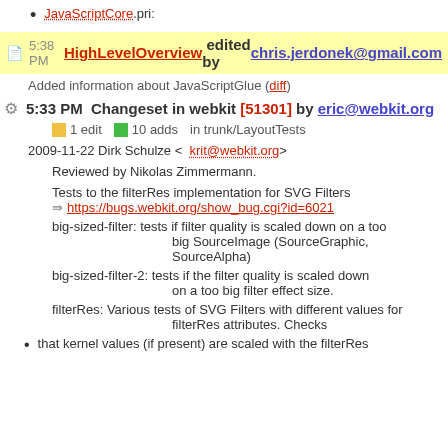JavaScriptCore.pri:
5:38 PM HighLevelOverview edited by chris.jerdonek@gmail.com
Added information about JavaScriptGlue (diff)
5:33 PM Changeset in webkit [51301] by eric@webkit.org
1 edit   10 adds   in trunk/LayoutTests
2009-11-22 Dirk Schulze <krit@webkit.org>
Reviewed by Nikolas Zimmermann.
Tests to the filterRes implementation for SVG Filters ⇒ https://bugs.webkit.org/show_bug.cgi?id=6021
big-sized-filter: tests if filter quality is scaled down on a too big SourceImage (SourceGraphic, SourceAlpha)
big-sized-filter-2: tests if the filter quality is scaled down on a too big filter effect size.
filterRes: Various tests of SVG Filters with different values for filterRes attributes. Checks
that kernel values (if present) are scaled with the filterRes